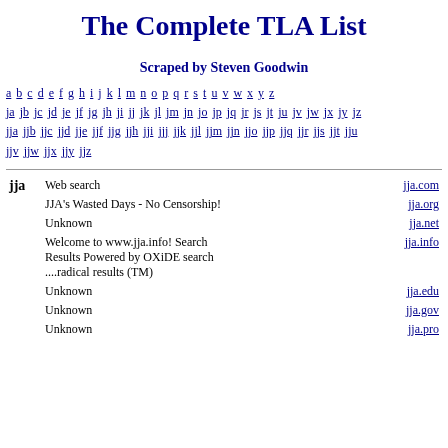The Complete TLA List
Scraped by Steven Goodwin
a b c d e f g h i j k l m n o p q r s t u v w x y z ja jb jc jd je jf jg jh ji jj jk jl jm jn jo jp jq jr js jt ju jv jw jx jy jz jja jjb jjc jjd jje jjf jjg jjh jji jjj jjk jjl jjm jjn jjo jjp jjq jjr jjs jjt jju jjv jjw jjx jjy jjz
| TLA | Description | Link |
| --- | --- | --- |
| jja | Web search | jja.com |
|  | JJA's Wasted Days - No Censorship! | jja.org |
|  | Unknown | jja.net |
|  | Welcome to www.jja.info! Search Results Powered by OXiDE search ....radical results (TM) | jja.info |
|  | Unknown | jja.edu |
|  | Unknown | jja.gov |
|  | Unknown | jja.pro |